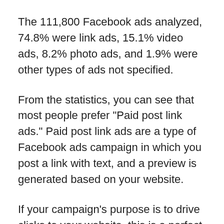The 111,800 Facebook ads analyzed, 74.8% were link ads, 15.1% video ads, 8.2% photo ads, and 1.9% were other types of ads not specified.
From the statistics, you can see that most people prefer "Paid post link ads." Paid post link ads are a type of Facebook ads campaign in which you post a link with text, and a preview is generated based on your website.
If your campaign's purpose is to drive clicks to your website, this is a perfect campaign for